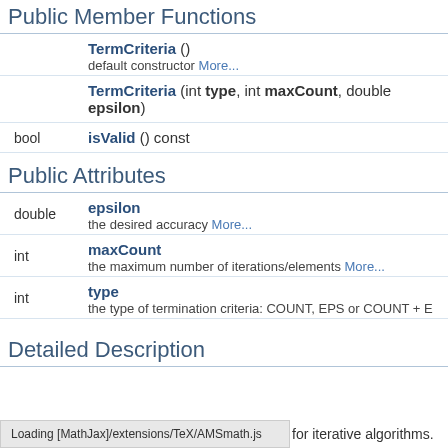Public Member Functions
|  | TermCriteria () | default constructor More... |
|  | TermCriteria (int type, int maxCount, double epsilon) |  |
| bool | isValid () const |  |
Public Attributes
| double | epsilon | the desired accuracy More... |
| int | maxCount | the maximum number of iterations/elements More... |
| int | type | the type of termination criteria: COUNT, EPS or COUNT + E |
Detailed Description
for iterative algorithms.
Loading [MathJax]/extensions/TeX/AMSmath.js